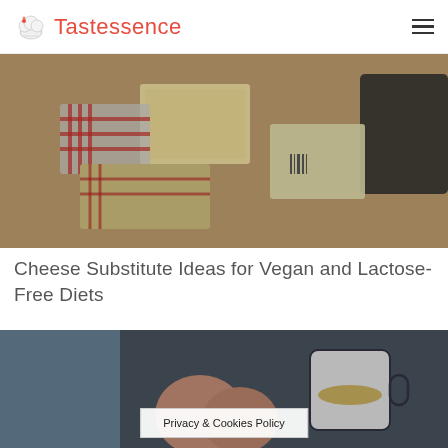Tastessence
[Figure (photo): Overhead view of various packaged cheese blocks with red checkered wrappers arranged on a surface]
Cheese Substitute Ideas for Vegan and Lactose-Free Diets
[Figure (photo): Close-up of eggs and a mug on a dark surface]
Privacy & Cookies Policy